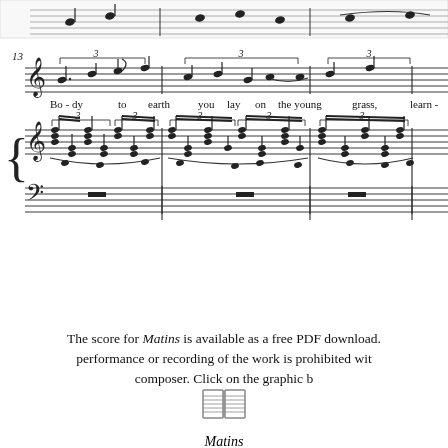[Figure (illustration): Sheet music excerpt showing measure 13 onward of a choral/piano piece. Top staff (vocal) with lyrics 'Bo-dy to earth you lay on the young grass, learn-'. Middle grand staff piano treble with dense chords in triplet groupings with slurs. Bottom piano bass staff with whole rests. Bar number 13 shown at left. Key signature in treble, time markings with '3' triplet brackets.]
The score for Matins is available as a free PDF download. performance or recording of the work is prohibited with composer. Click on the graphic b
Matins